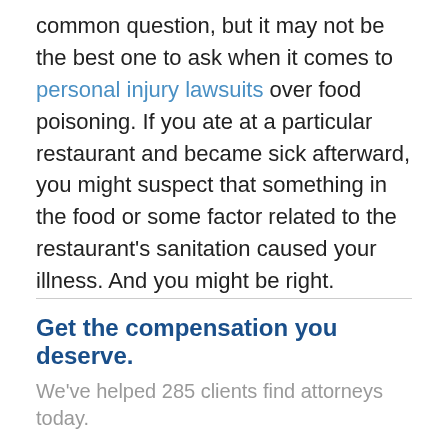common question, but it may not be the best one to ask when it comes to personal injury lawsuits over food poisoning. If you ate at a particular restaurant and became sick afterward, you might suspect that something in the food or some factor related to the restaurant's sanitation caused your illness. And you might be right.
Get the compensation you deserve.
We've helped 285 clients find attorneys today.
How were you or your loved one injured?
When Working (Including Any Of